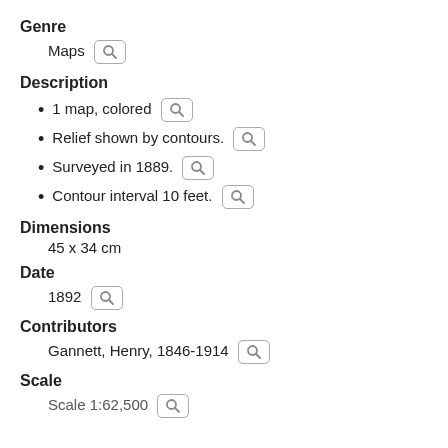Genre
Maps
Description
1 map, colored
Relief shown by contours.
Surveyed in 1889.
Contour interval 10 feet.
Dimensions
45 x 34 cm
Date
1892
Contributors
Gannett, Henry, 1846-1914
Scale
Scale 1:62,500